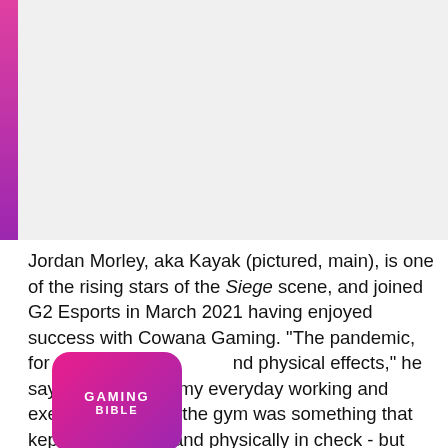[Figure (photo): Image area with a pink-purple vertical bar on the left side and a large photo region (content obscured/white) occupying the top portion of the page.]
Jordan Morley, aka Kayak (pictured, main), is one of the rising stars of the Siege scene, and joined G2 Esports in March 2021 having enjoyed success with Cowana Gaming. "The pandemic, for me, has had mental and physical effects," he says. "It impacted my everyday working and exercise. Going to the gym was something that kept me mentally and physically in check - but when they closed within the UK, I struggled at first, gaining weight and not feeling happy with myself."
[Figure (logo): Gaming Bible logo - pink/purple gradient rounded square with GAMING BIBLE text in white.]